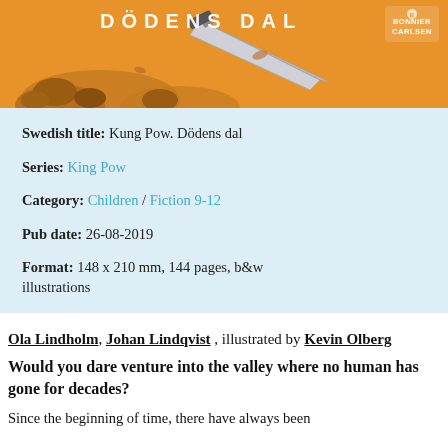[Figure (illustration): Book cover illustration with orange/sandy background, rocky terrain, a knife, and 'BONNIER CARLSEN' publisher logo in the top right corner. Title text partially visible at top.]
Swedish title: Kung Pow. Dödens dal
Series: King Pow
Category: Children / Fiction 9-12
Pub date: 26-08-2019
Format: 148 x 210 mm, 144 pages, b&w illustrations
Ola Lindholm, Johan Lindqvist , illustrated by Kevin Olberg
Would you dare venture into the valley where no human has gone for decades?
Since the beginning of time, there have always been